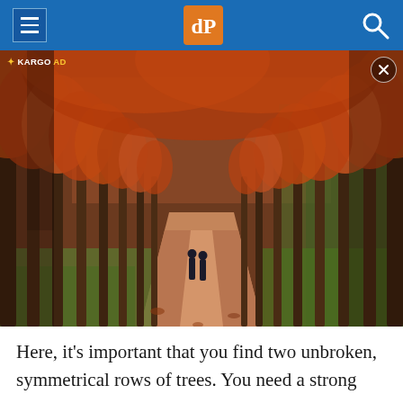dPS (digital Photography School) — navigation header with hamburger menu, logo, and search icon
[Figure (photo): Autumn tree-lined path with two people walking into the distance; orange/red foliage canopy overhead; labeled as a KARGO AD]
Here, it's important that you find two unbroken, symmetrical rows of trees. You need a strong